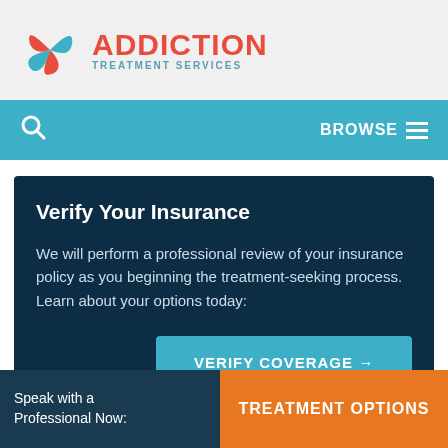[Figure (logo): Addiction Treatment Services logo with swirling red and blue icon and text]
BROWSE
Verify Your Insurance
We will perform a professional review of your insurance policy as you beginning the treatment-seeking process. Learn about your options today:
VERIFY COVERAGE →
Admissions Information
Speak with a Professional Now:
TREATMENT OPTIONS